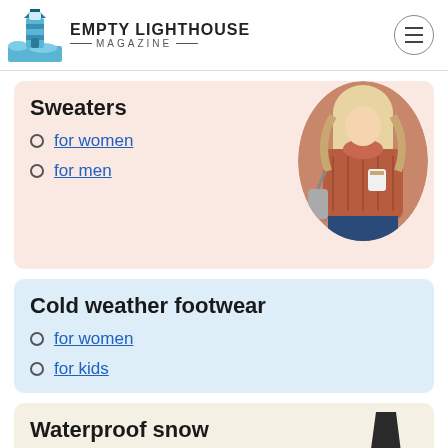EMPTY LIGHTHOUSE MAGAZINE
Sweaters
for women
for men
[Figure (photo): Woman wearing a chunky knit rust/brick-colored sweater holding a coffee cup]
Cold weather footwear
for women
for kids
Waterproof snow
[Figure (photo): Dark waterproof snow boot/shoe partially visible]